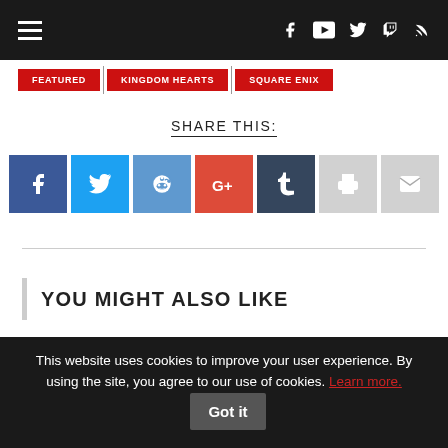Navigation bar with hamburger menu and social icons (Facebook, YouTube, Twitter, Twitch, RSS)
FEATURED | KINGDOM HEARTS | SQUARE ENIX
SHARE THIS:
[Figure (other): Social share buttons: Facebook (blue), Twitter (light blue), Reddit (blue), Google+ (red), Tumblr (dark blue), Print (gray), Email (gray)]
YOU MIGHT ALSO LIKE
This website uses cookies to improve your user experience. By using the site, you agree to our use of cookies. Learn more. Got it